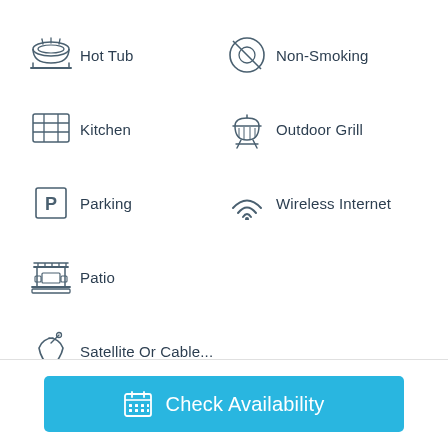Hot Tub
Non-Smoking
Kitchen
Outdoor Grill
Parking
Wireless Internet
Patio
Satellite Or Cable...
Show all amenities
Sleeping Arrangement
Check Availability